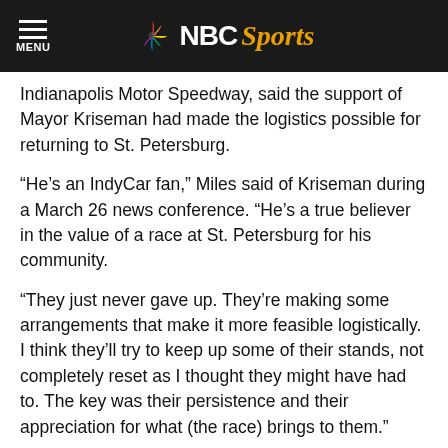NBC Sports
Indianapolis Motor Speedway, said the support of Mayor Kriseman had made the logistics possible for returning to St. Petersburg.
“He’s an IndyCar fan,” Miles said of Kriseman during a March 26 news conference. “He’s a true believer in the value of a race at St. Petersburg for his community.
“They just never gave up. They’re making some arrangements that make it more feasible logistically. I think they’ll try to keep up some of their stands, not completely reset as I thought they might have had to. The key was their persistence and their appreciation for what (the race) brings to them.”
Here’s the release from IndyCar:
INDIANAPOLIS (May 13, 2020) – The